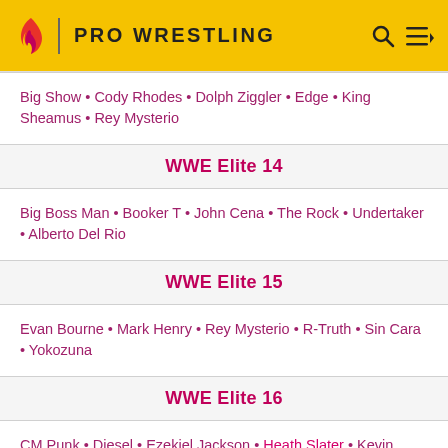PRO WRESTLING
Big Show • Cody Rhodes • Dolph Ziggler • Edge • King Sheamus • Rey Mysterio
WWE Elite 14
Big Boss Man • Booker T • John Cena • The Rock • Undertaker • Alberto Del Rio
WWE Elite 15
Evan Bourne • Mark Henry • Rey Mysterio • R-Truth • Sin Cara • Yokozuna
WWE Elite 16
CM Punk • Diesel • Ezekiel Jackson • Heath Slater • Kevin Nash • Randy Orton • The Rock
WWE Elite 17